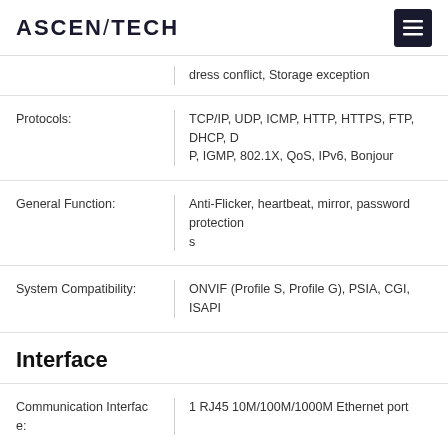ASCENTECH
| Specification | Value |
| --- | --- |
|  | dress conflict, Storage exception |
| Protocols: | TCP/IP, UDP, ICMP, HTTP, HTTPS, FTP, DHCP, DNS, DDNS, RTP, RTSP, RTCP, PPPoE, NTP, UPnP, SMTP, SNMP, IGMP, 802.1X, QoS, IPv6, Bonjour |
| General Function: | Anti-Flicker, heartbeat, mirror, password protection, privacy mask, watermark, IP address filtering, searching by License Plate Number, one-key reset, export/import configuration, multiple users privileges, SSL/TLS, HTTPS, IEEE 802.1x, QoS, PTZ control, trigger alarm, 3D DNR, defog, EIS |
| System Compatibility: | ONVIF (Profile S, Profile G), PSIA, CGI, ISAPI |
Interface
| Specification | Value |
| --- | --- |
| Communication Interface: | 1 RJ45 10M/100M/1000M Ethernet port |
General
| Specification | Value |
| --- | --- |
| Operating Conditions: | -30 °C ~ 60 °C (-22 °F ~ 140 °F)
Humidity 95% or less (non-condensing) |